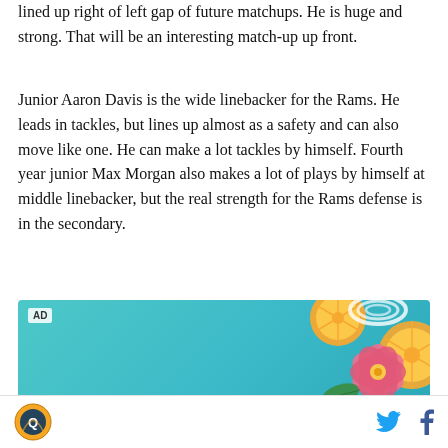lined up right of left gap of future matchups. He is huge and strong. That will be an interesting match-up up front.
Junior Aaron Davis is the wide linebacker for the Rams. He leads in tackles, but lines up almost as a safety and can also move like one. He can make a lot tackles by himself. Fourth year junior Max Morgan also makes a lot of plays by himself at middle linebacker, but the real strength for the Rams defense is in the secondary.
[Figure (other): Advertisement banner with teal/cyan gradient background showing citrus fruit slices and a pink hibiscus flower on the right side. 'AD' label in top left corner.]
Site logo icon on left; Twitter and Facebook social icons on right